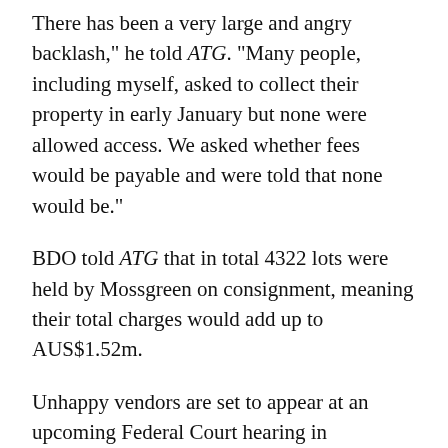There has been a very large and angry backlash," he told ATG. "Many people, including myself, asked to collect their property in early January but none were allowed access. We asked whether fees would be payable and were told that none would be."
BDO told ATG that in total 4322 lots were held by Mossgreen on consignment, meaning their total charges would add up to AUS$1.52m.
Unhappy vendors are set to appear at an upcoming Federal Court hearing in Melbourne where they will vigorously argue that the fees are unfair and question their legitimacy.
BDO says it has acted entirely within the law dealing with a complex case involving a large number of stakeholders.
"It's not illegal," the firm stated. "A similar levy was applied by the administrator of International Art